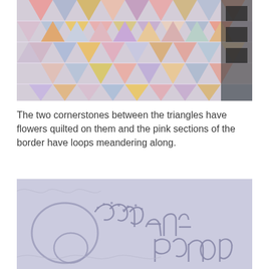[Figure (photo): Close-up photo of a quilt featuring triangular patches in pastel colors including pink, blue, yellow/gold, lavender, and white with various patterns including florals and solids. The triangles are arranged in a geometric pattern with sashing between blocks.]
The two cornerstones between the triangles have flowers quilted on them and the pink sections of the border have loops meandering along.
[Figure (photo): Close-up photo of white/lavender quilted fabric showing cursive stitched text reading 'love Aunt Bonnie' with loop and bubble quilting patterns around the text.]